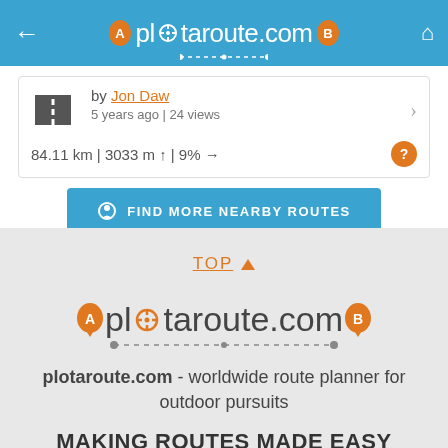plotaroute.com
by Jon Daw
5 years ago | 24 views
84.11 km | 3033 m ↑ | 9% →
FIND MORE NEARBY ROUTES
TOP ▲
[Figure (logo): plotaroute.com logo with orange A pin, crosshair and B pin connected by a dotted line]
plotaroute.com - worldwide route planner for outdoor pursuits
MAKING ROUTES MADE EASY